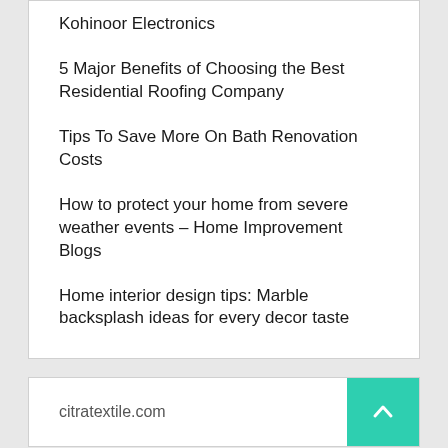Kohinoor Electronics
5 Major Benefits of Choosing the Best Residential Roofing Company
Tips To Save More On Bath Renovation Costs
How to protect your home from severe weather events – Home Improvement Blogs
Home interior design tips: Marble backsplash ideas for every decor taste
citratextile.com